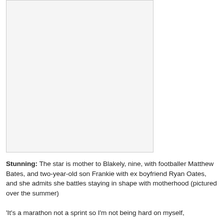[Figure (photo): A photo placeholder (white/light grey box) representing an image of a woman, likely a celebrity or public figure, pictured over the summer.]
Stunning: The star is mother to Blakely, nine, with footballer Matthew Bates, and two-year-old son Frankie with ex boyfriend Ryan Oates, and she admits she battles staying in shape with motherhood (pictured over the summer)
'It's a marathon not a sprint so I'm not being hard on myself,